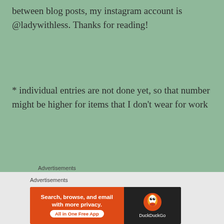between blog posts, my instagram account is @ladywithless. Thanks for reading!
* individual entries are not done yet, so that number might be higher for items that I don't wear for work
Advertisements
[Figure (screenshot): WooCommerce advertisement banner with purple background and teal/blue geometric shapes]
Advertisements
[Figure (screenshot): DuckDuckGo advertisement: Search, browse, and email with more privacy. All in One Free App]